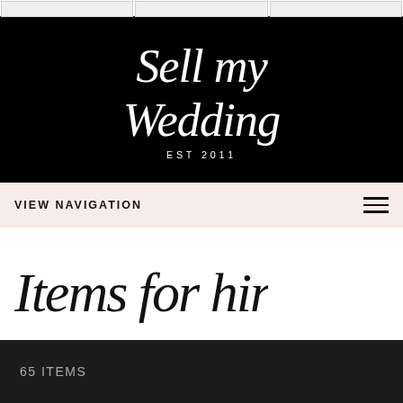[Figure (screenshot): Top navigation bar with three buttons]
[Figure (logo): Sell My Wedding logo in white script on black background with 'EST 2011' below]
VIEW NAVIGATION
Items for hire
65 ITEMS